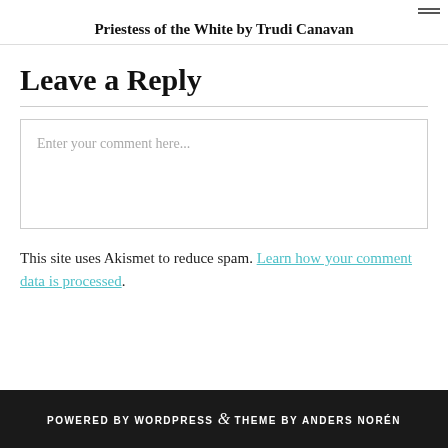Priestess of the White by Trudi Canavan
Leave a Reply
Enter your comment here...
This site uses Akismet to reduce spam. Learn how your comment data is processed.
POWERED BY WORDPRESS & THEME BY ANDERS NORÉN